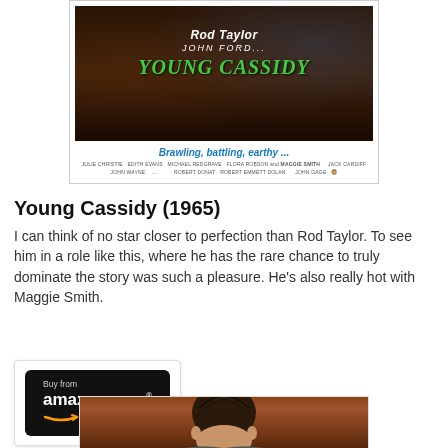[Figure (photo): Movie poster for Young Cassidy (1965) featuring Rod Taylor and John Ford. Shows title 'YOUNG CASSIDY' in large green letters with tagline 'Brawling, battling, earthy...' in blue text. Credits include Julie Christie, Edith Evans, Michael Redgrave, Flora Robson and Maggie Smith.]
Young Cassidy (1965)
I can think of no star closer to perfection than Rod Taylor. To see him in a role like this, where he has the rare chance to truly dominate the story was such a pleasure. He’s also really hot with Maggie Smith.
[Figure (photo): Buy from amazon.com button with Amazon logo and arrow]
[Figure (photo): Partial photo showing the top of a person's head, bottom of image cropped]